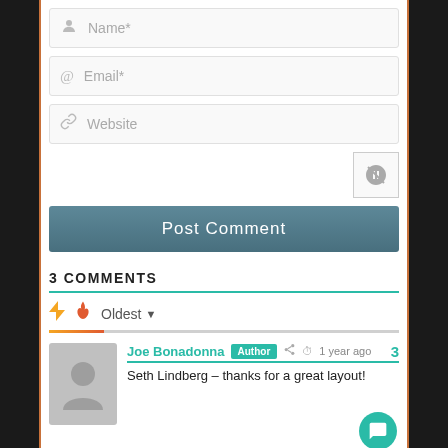[Figure (screenshot): Comment form with Name, Email, Website fields, CAPTCHA icon, Post Comment button, 3 Comments section with sort icons, progress bar, and first comment from Joe Bonadonna (Author) saying 'Seth Lindberg – thanks for a great layout!']
Name*
Email*
Website
Post Comment
3 COMMENTS
Oldest
Joe Bonadonna  Author  1 year ago
Seth Lindberg – thanks for a great layout!